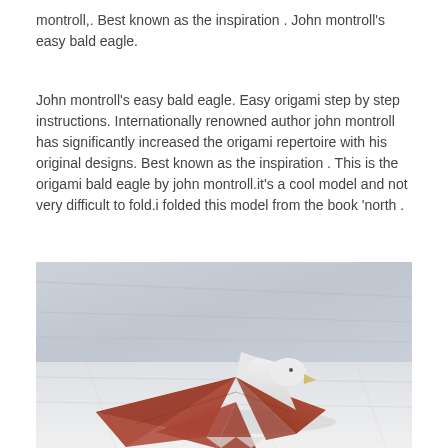montroll,. Best known as the inspiration . John montroll's easy bald eagle.
John montroll's easy bald eagle. Easy origami step by step instructions. Internationally renowned author john montroll has significantly increased the origami repertoire with his original designs. Best known as the inspiration . This is the origami bald eagle by john montroll.it's a cool model and not very difficult to fold.i folded this model from the book 'north .
[Figure (photo): Photograph of an origami bald eagle made from brown/terracotta and white paper, placed on a marble or light stone surface. The eagle features a white head and body upper portion with spread wings formed by brown angular folds, suggesting a bird in flight. Background shows a blurred marble counter or table surface.]